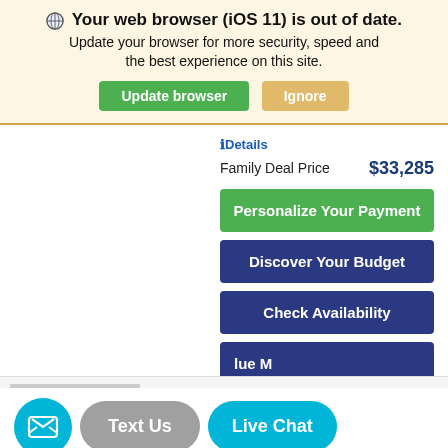Your web browser (iOS 11) is out of date. Update your browser for more security, speed and the best experience on this site.
Update browser | Ignore
Details
Family Deal Price   $33,285
Personalize Your Payment
Discover Your Budget
Check Availability
lue M
Text Us
Live Chat
New 2022
Volkswagen Tiguan SE with